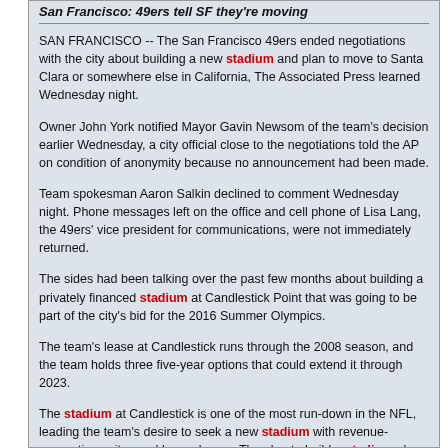San Francisco: 49ers tell SF they're moving
SAN FRANCISCO -- The San Francisco 49ers ended negotiations with the city about building a new stadium and plan to move to Santa Clara or somewhere else in California, The Associated Press learned Wednesday night.
Owner John York notified Mayor Gavin Newsom of the team's decision earlier Wednesday, a city official close to the negotiations told the AP on condition of anonymity because no announcement had been made.
Team spokesman Aaron Salkin declined to comment Wednesday night. Phone messages left on the office and cell phone of Lisa Lang, the 49ers' vice president for communications, were not immediately returned.
The sides had been talking over the past few months about building a privately financed stadium at Candlestick Point that was going to be part of the city's bid for the 2016 Summer Olympics.
The team's lease at Candlestick runs through the 2008 season, and the team holds three five-year options that could extend it through 2023.
The stadium at Candlestick is one of the most run-down in the NFL, leading the team's desire to seek a new stadium with revenue-generating suites and luxury boxes. The plan to build a stadium also included public housing, retail and office space.